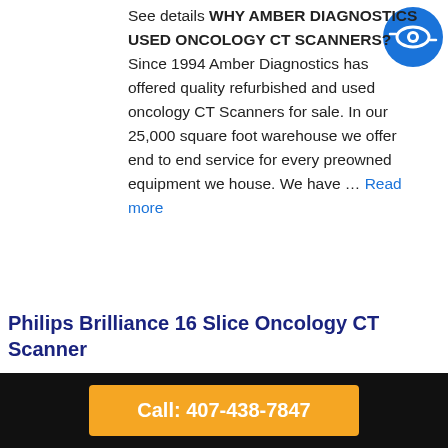See details WHY AMBER DIAGNOSTICS USED ONCOLOGY CT SCANNERS? Since 1994 Amber Diagnostics has offered quality refurbished and used oncology CT Scanners for sale. In our 25,000 square foot warehouse we offer end to end service for every preowned equipment we house. We have … Read more
[Figure (logo): Blue circle logo with a stylized eye/arrow icon in white]
Philips Brilliance 16 Slice Oncology CT Scanner
Philips Brilliance Overview Day in, day out you need a RT CT system you can trust to
Call: 407-438-7847